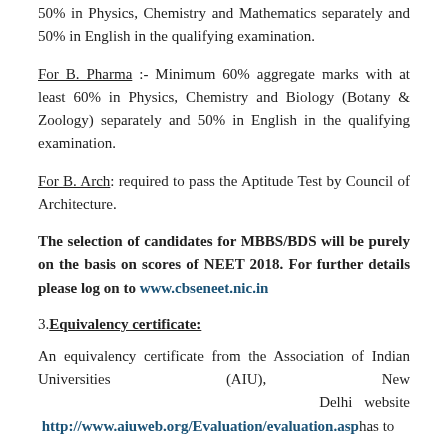50% in Physics, Chemistry and Mathematics separately and 50% in English in the qualifying examination.
For B. Pharma :- Minimum 60% aggregate marks with at least 60% in Physics, Chemistry and Biology (Botany & Zoology) separately and 50% in English in the qualifying examination.
For B. Arch: required to pass the Aptitude Test by Council of Architecture.
The selection of candidates for MBBS/BDS will be purely on the basis on scores of NEET 2018. For further details please log on to www.cbseneet.nic.in
3. Equivalency certificate:
An equivalency certificate from the Association of Indian Universities (AIU), New Delhi website http://www.aiuweb.org/Evaluation/evaluation.asp has to